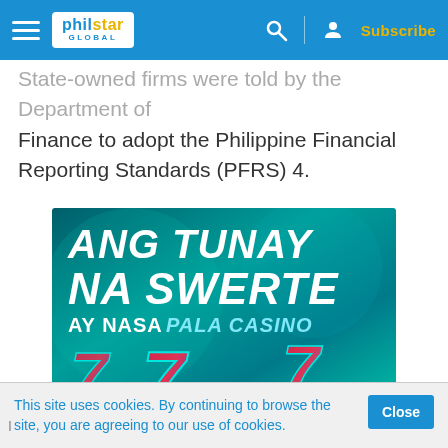philstar GLOBAL — navigation bar with hamburger menu, search, profile, and Subscribe button
State-owned firms were told by the Department of Finance to adopt the Philippine Financial Reporting Standards (PFRS) 4.
[Figure (photo): Pala Casino advertisement banner with teal/green background showing text 'ANG TUNAY NA SWERTE AY NASA PALA CASINO' with lucky 7 slot machine symbols and PALA logo]
This site uses cookies. By continuing to browse the site, you are agreeing to our use of cookies.